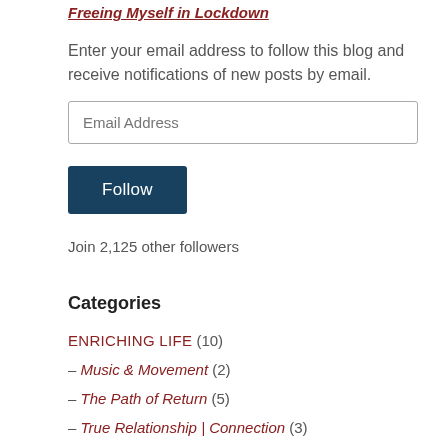Freeing Myself in Lockdown
Enter your email address to follow this blog and receive notifications of new posts by email.
Email Address
Follow
Join 2,125 other followers
Categories
ENRICHING LIFE (10)
– Music & Movement (2)
– The Path of Return (5)
– True Relationship | Connection (3)
GLOBAL ISSUES (9)